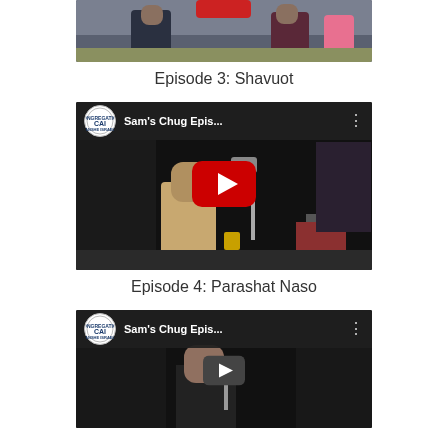[Figure (screenshot): Bottom portion of YouTube video thumbnail for Episode 3: Shavuot, showing two people outdoors]
Episode 3: Shavuot
[Figure (screenshot): YouTube video thumbnail for Sam's Chug Episode 4: Parashat Naso with CAI logo, title bar, red play button, and a person at a desk]
Episode 4: Parashat Naso
[Figure (screenshot): YouTube video thumbnail for Sam's Chug Episode 5 with CAI logo, title bar, smaller play button, and a person speaking]